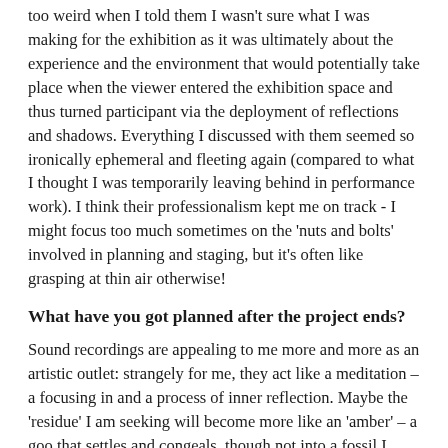too weird when I told them I wasn't sure what I was making for the exhibition as it was ultimately about the experience and the environment that would potentially take place when the viewer entered the exhibition space and thus turned participant via the deployment of reflections and shadows. Everything I discussed with them seemed so ironically ephemeral and fleeting again (compared to what I thought I was temporarily leaving behind in performance work). I think their professionalism kept me on track - I might focus too much sometimes on the 'nuts and bolts' involved in planning and staging, but it's often like grasping at thin air otherwise!
What have you got planned after the project ends?
Sound recordings are appealing to me more and more as an artistic outlet: strangely for me, they act like a meditation – a focusing in and a process of inner reflection. Maybe the 'residue' I am seeking will become more like an 'amber' – a goo that settles and congeals, though not into a fossil I hope! Yet, it may be something that could be preserved for ever. I frantically fear no...